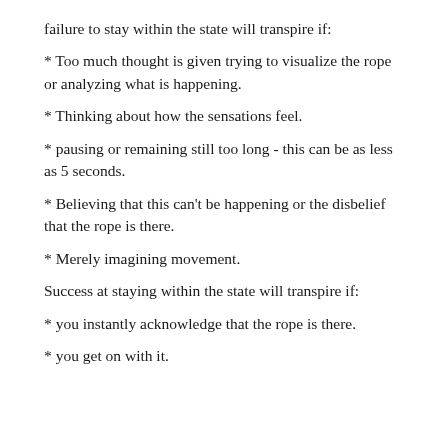failure to stay within the state will transpire if:
* Too much thought is given trying to visualize the rope or analyzing what is happening.
* Thinking about how the sensations feel.
* pausing or remaining still too long - this can be as less as 5 seconds.
* Believing that this can't be happening or the disbelief that the rope is there.
* Merely imagining movement.
Success at staying within the state will transpire if:
* you instantly acknowledge that the rope is there.
* you get on with it.